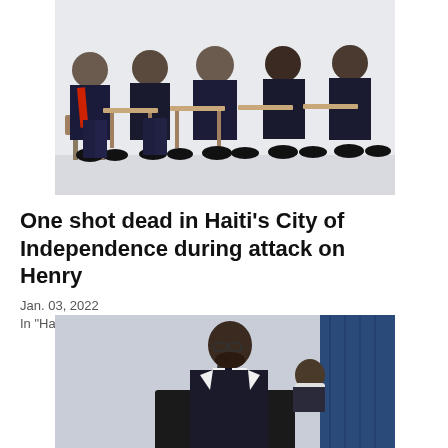[Figure (photo): Group of men in dark suits seated in a row at an official event, some wearing sashes]
One shot dead in Haiti's City of Independence during attack on Henry
Jan. 03, 2022
In "Haiti"
[Figure (photo): Man in dark suit speaking at a Primature lectern with Haiti seal, with blue curtain in background]